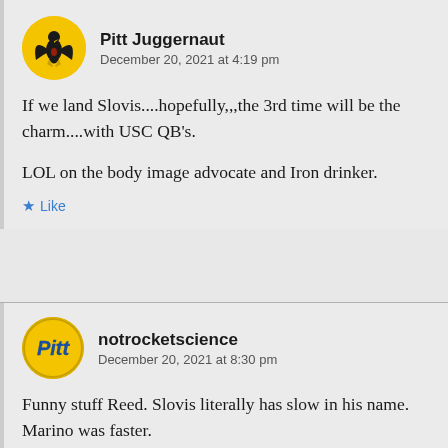[Figure (illustration): Avatar for Pitt Juggernaut: yellow circle with black German eagle emblem]
Pitt Juggernaut
December 20, 2021 at 4:19 pm
If we land Slovis....hopefully,,,the 3rd time will be the charm....with USC QB's.
LOL on the body image advocate and Iron drinker.
Like
[Figure (logo): Pitt logo avatar: yellow/gold circle with blue Pitt script]
notrocketscience
December 20, 2021 at 8:30 pm
Funny stuff Reed. Slovis literally has slow in his name. Marino was faster.